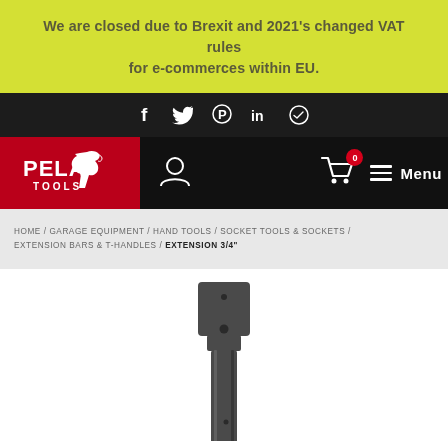We are closed due to Brexit and 2021's changed VAT rules for e-commerces within EU.
[Figure (screenshot): Social media icons: Facebook, Twitter, Pinterest, LinkedIn, Telegram on dark background]
[Figure (logo): PELA TOOLS logo on red background with horse icon, plus user account icon, shopping cart with badge 0, and Menu hamburger button]
HOME / GARAGE EQUIPMENT / HAND TOOLS / SOCKET TOOLS & SOCKETS / EXTENSION BARS & T-HANDLES / EXTENSION 3/4"
[Figure (photo): Close-up photo of a 3/4 inch extension bar tool, dark metal, square drive visible at top with retaining pin hole]